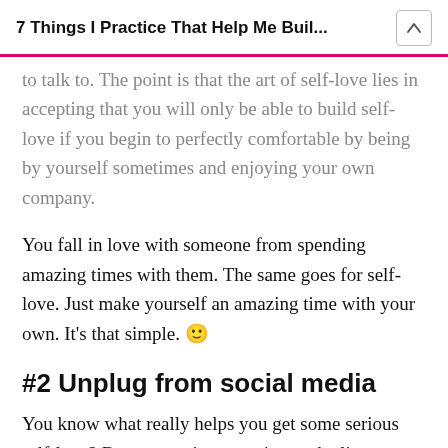7 Things I Practice That Help Me Buil...
to talk to. The point is that the art of self-love lies in accepting that you will only be able to build self-love if you begin to perfectly comfortable by being by yourself sometimes and enjoying your own company.
You fall in love with someone from spending amazing times with them. The same goes for self-love. Just make yourself an amazing time with your own. It's that simple. 🙂
#2 Unplug from social media
You know what really helps you get some serious self-love? By stop paying attention to the lives others share with us. Don't get me wrong! Social media is